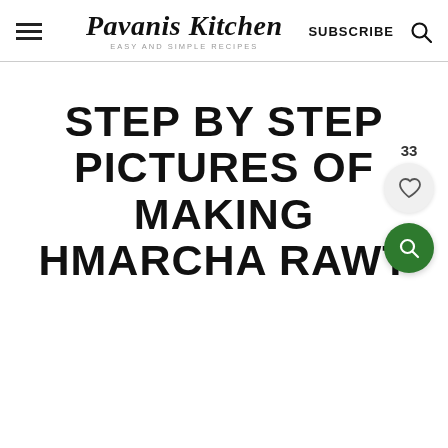Pavanis Kitchen — EASY AND SIMPLE RECIPES — SUBSCRIBE
STEP BY STEP PICTURES OF MAKING HMARCHA RAWT